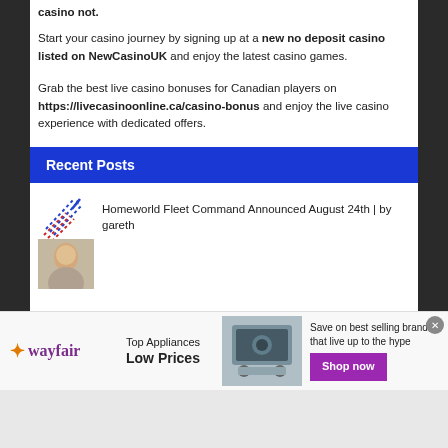casino not.
Start your casino journey by signing up at a new no deposit casino listed on NewCasinoUK and enjoy the latest casino games.
Grab the best live casino bonuses for Canadian players on https://livecasinoonline.ca/casino-bonus and enjoy the live casino experience with dedicated offers.
Recent Posts
[Figure (illustration): Small thumbnail graphic with red and blue diagonal lines/dashes suggesting a fleet or motion graphic]
Homeworld Fleet Command Announced August 24th | by gareth
[Figure (photo): Small thumbnail photo of a person]
[Figure (other): Wayfair advertisement banner: Top Appliances Low Prices, Save on best selling brands that live up to the hype, Shop now button]
wayfair | Top Appliances Low Prices | Save on best selling brands that live up to the hype | Shop now